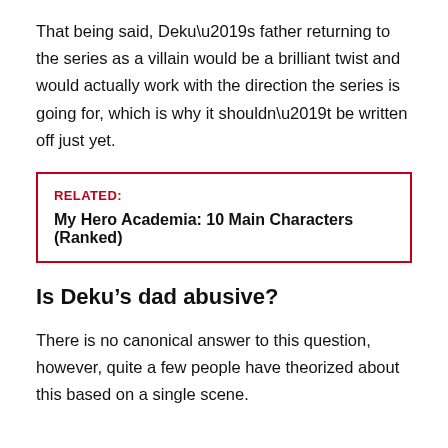That being said, Deku’s father returning to the series as a villain would be a brilliant twist and would actually work with the direction the series is going for, which is why it shouldn’t be written off just yet.
RELATED: My Hero Academia: 10 Main Characters (Ranked)
Is Deku’s dad abusive?
There is no canonical answer to this question, however, quite a few people have theorized about this based on a single scene.